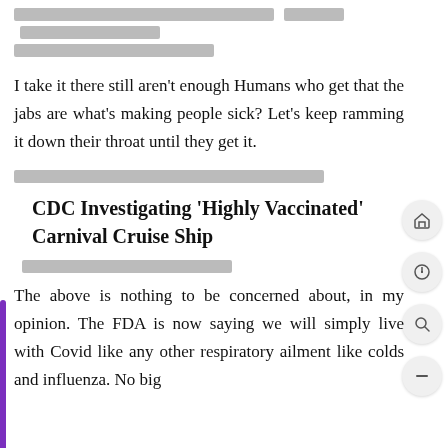[redacted lines]
I take it there still aren't enough Humans who get that the jabs are what's making people sick? Let's keep ramming it down their throat until they get it.
[redacted line]
CDC Investigating 'Highly Vaccinated' Carnival Cruise Ship
[redacted line]
The above is nothing to be concerned about, in my opinion. The FDA is now saying we will simply live with Covid like any other respiratory ailment like colds and influenza. No big deal. People can deal...